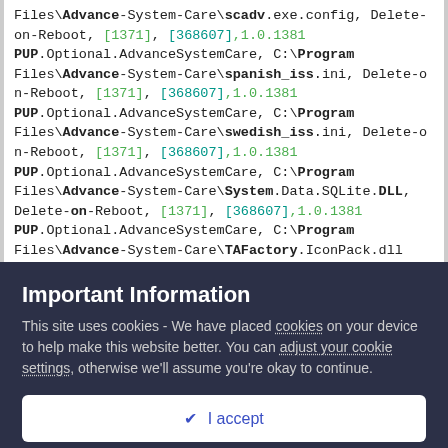Files\Advance-System-Care\scadv.exe.config, Delete-on-Reboot, [1371], [368607],1.0.1381
PUP.Optional.AdvanceSystemCare, C:\Program Files\Advance-System-Care\spanish_iss.ini, Delete-on-Reboot, [1371], [368607],1.0.1381
PUP.Optional.AdvanceSystemCare, C:\Program Files\Advance-System-Care\swedish_iss.ini, Delete-on-Reboot, [1371], [368607],1.0.1381
PUP.Optional.AdvanceSystemCare, C:\Program Files\Advance-System-Care\System.Data.SQLite.DLL, Delete-on-Reboot, [1371], [368607],1.0.1381
PUP.Optional.AdvanceSystemCare, C:\Program Files\Advance-System-Care\TAFactory.IconPack.dll
Important Information
This site uses cookies - We have placed cookies on your device to help make this website better. You can adjust your cookie settings, otherwise we'll assume you're okay to continue.